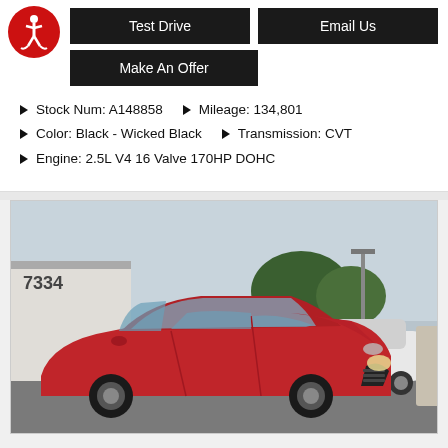Test Drive
Email Us
Make An Offer
Stock Num: A148858   Mileage: 134,801
Color: Black - Wicked Black   Transmission: CVT
Engine: 2.5L V4 16 Valve 170HP DOHC
[Figure (photo): Red Toyota Camry sedan parked at a car dealership lot (number 7334), overcast sky, white cars visible in background]